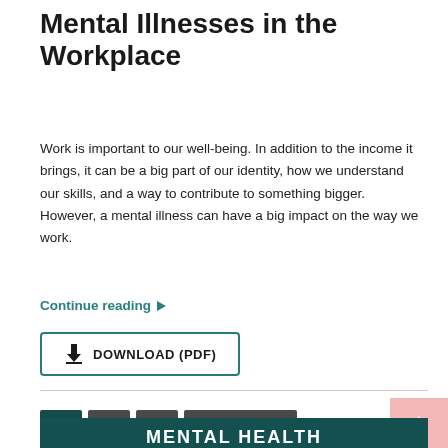Mental Illnesses in the Workplace
Work is important to our well-being. In addition to the income it brings, it can be a big part of our identity, how we understand our skills, and a way to contribute to something bigger. However, a mental illness can have a big impact on the way we work.
Continue reading ▶
⬇ DOWNLOAD (PDF)
1   2   3   Next Page »
MENTAL HEALTH